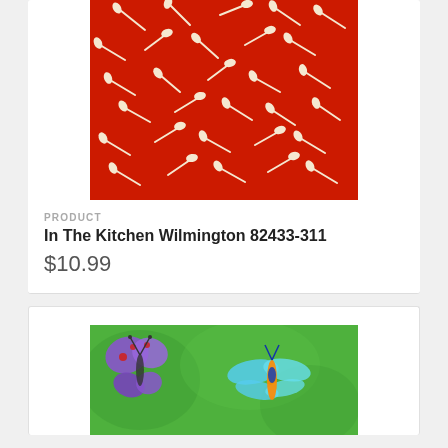[Figure (photo): Red fabric with white kitchen utensil pattern (spoons, forks, whisks scattered randomly on red background)]
PRODUCT
In The Kitchen Wilmington 82433-311
$10.99
[Figure (photo): Green fabric with colorful dragonfly and butterfly applique or print pattern — purple butterfly on left, blue/orange dragonfly on right]